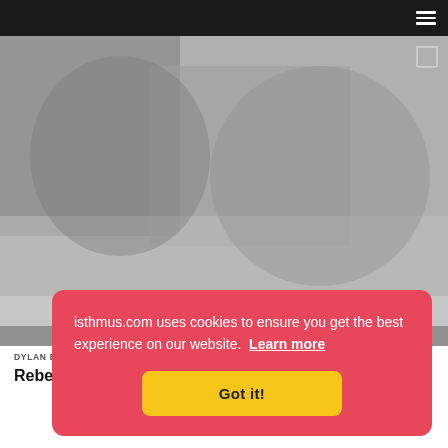isthmus.com navigation bar with hamburger menu
[Figure (photo): Blurred/placeholder photo of Rebecca Kleefisch speaking with GOP delegates, credit Dylan Brogan]
isthmus.com uses cookies to ensure you get the best experience on our website. Learn more
Got it!
DYLAN BROGAN
Rebecca Kleefisch speaking with GOP delegates at the